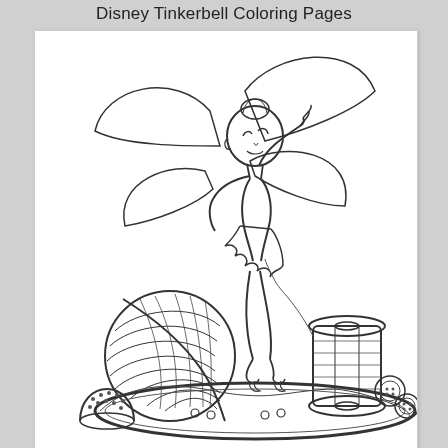Disney Tinkerbell Coloring Pages
[Figure (illustration): A black and white coloring page illustration of Disney's Tinkerbell fairy, shown standing with her wings spread, one arm raised touching her hair, wearing her signature dress with jagged hem. She is surrounded by sewing-related objects: a large ball of yarn/thread on the left, a wooden spool of thread on the right, a thimble in the lower left, buttons, and a decorative circular hoop or ring at her feet. The drawing is in line-art style suitable for coloring.]